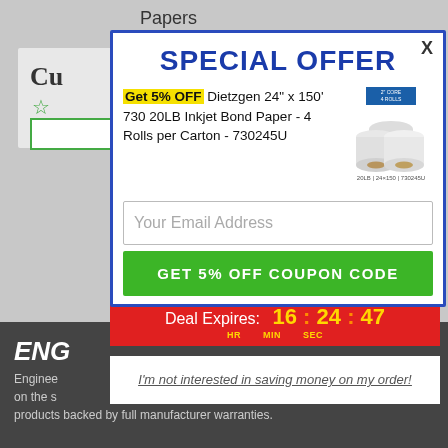Papers
SPECIAL OFFER
Get 5% OFF Dietzgen 24" x 150' 730 20LB Inkjet Bond Paper - 4 Rolls per Carton - 730245U
[Figure (photo): Product image of paper rolls - 3 rolls of Dietzgen 24x150 730 20LB inkjet bond paper, with blue label tag showing 2" CORE 4 ROLLS]
Your Email Address
GET 5% OFF COUPON CODE
Deal Expires: 16 : 24 : 47 HR MIN SEC
I'm not interested in saving money on my order!
ENG
Engineer products backed by full manufacturer warranties.